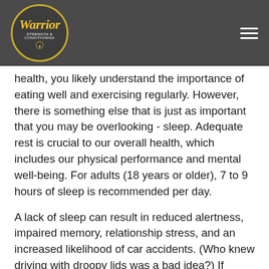[Figure (logo): Warrior Strength and Conditioning circular logo with gold script text on dark grey background]
health, you likely understand the importance of eating well and exercising regularly. However, there is something else that is just as important that you may be overlooking - sleep. Adequate rest is crucial to our overall health, which includes our physical performance and mental well-being. For adults (18 years or older), 7 to 9 hours of sleep is recommended per day.
A lack of sleep can result in reduced alertness, impaired memory, relationship stress, and an increased likelihood of car accidents. (Who knew driving with droopy lids was a bad idea?) If prolonged, inadequate rest increases the risk of high blood pressure, diabetes, heart attack, heart failure, and stroke. Other potential problems